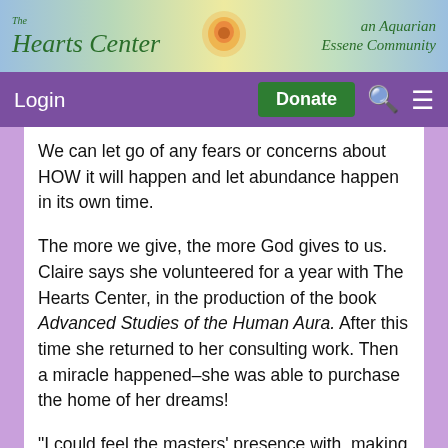[Figure (logo): The Hearts Center – an Aquarian Essene Community banner with colorful gradient background and rose logo]
Login   Donate   [search] [menu]
We can let go of any fears or concerns about HOW it will happen and let abundance happen in its own time.
The more we give, the more God gives to us. Claire says she volunteered for a year with The Hearts Center, in the production of the book Advanced Studies of the Human Aura. After this time she returned to her consulting work. Then a miracle happened–she was able to purchase the home of her dreams!
"I could feel the masters' presence with  making happen. I felt it was a reward for the time and work I gave to The Hearts Center,"  says Claire.